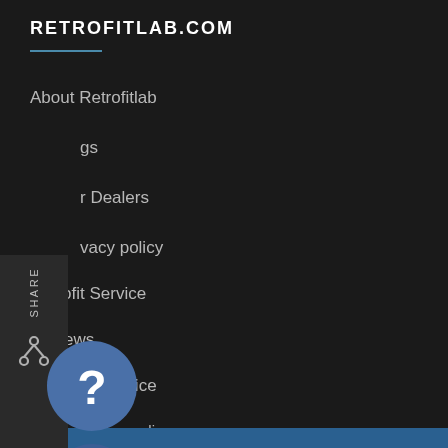RETROFITLAB.COM
About Retrofitlab
gs
r Dealers
vacy policy
Retrofit Service
Reviews
Terms of Service
Refund policy
G  pliance
C  mpliance
[Figure (screenshot): Share sidebar with fork icon and SHARE text rotated vertically, overlapping the navigation menu on the left side]
[Figure (screenshot): Help button (question mark circle) and scroll-up button (chevron up circle) overlapping the bottom navigation items]